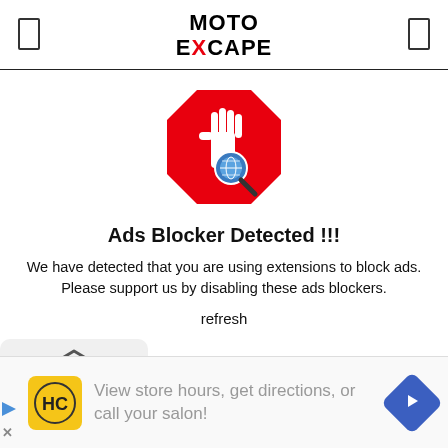MOTO EXCAPE
[Figure (illustration): Red octagon stop-sign shaped icon with a white hand and a magnifying glass with a globe, representing an ad blocker detection graphic.]
Ads Blocker Detected !!!
We have detected that you are using extensions to block ads. Please support us by disabling these ads blockers.
refresh
[Figure (infographic): Advertisement bar at the bottom showing HC logo on yellow background, text: View store hours, get directions, or call your salon!, and a blue diamond arrow icon.]